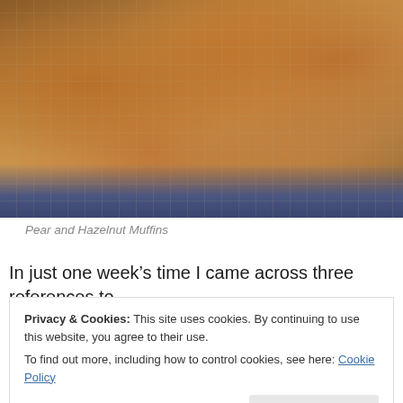[Figure (photo): Photograph of golden-brown pear and hazelnut muffins on a wire cooling rack over a blue cloth background.]
Pear and Hazelnut Muffins
In just one week’s time I came across three references to
Privacy & Cookies: This site uses cookies. By continuing to use this website, you agree to their use.
To find out more, including how to control cookies, see here: Cookie Policy
Close and accept
for breakfast dishes, all including a variety of grains, that I